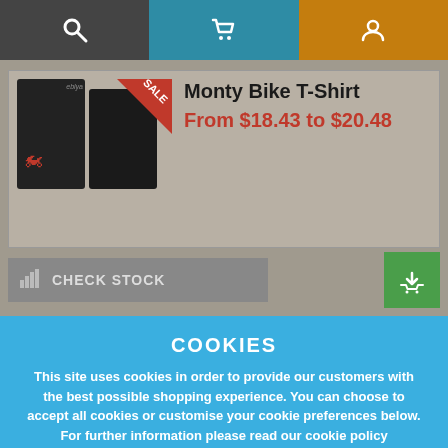[Figure (screenshot): Top navigation bar with search (dark grey), cart (teal/blue), and user profile (orange) icons]
[Figure (photo): Monty Bike T-Shirt product listing showing two black t-shirts with a red SALE corner banner]
Monty Bike T-Shirt
From $18.43 to $20.48
CHECK STOCK
COOKIES
This site uses cookies in order to provide our customers with the best possible shopping experience. You can choose to accept all cookies or customise your cookie preferences below. For further information please read our cookie policy
ACCEPT ALL COOKIES
CUSTOMISE